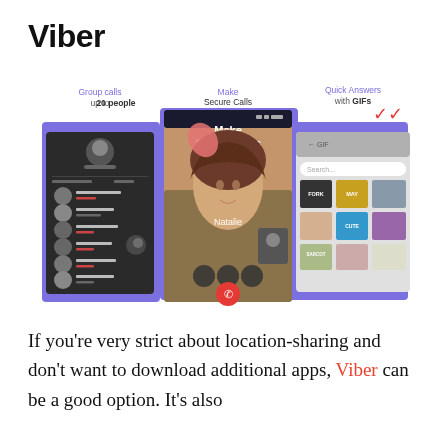Viber
[Figure (screenshot): Three Viber app screenshots showing: 1) Group calls up to 20 people (contacts/calling screen dark UI), 2) Make Secure Calls (video call screen with a woman's face), 3) Quick Answers with GIFs (GIF search screen). Purple accent backgrounds behind each screenshot.]
If you're very strict about location-sharing and don't want to download additional apps, Viber can be a good option. It's also